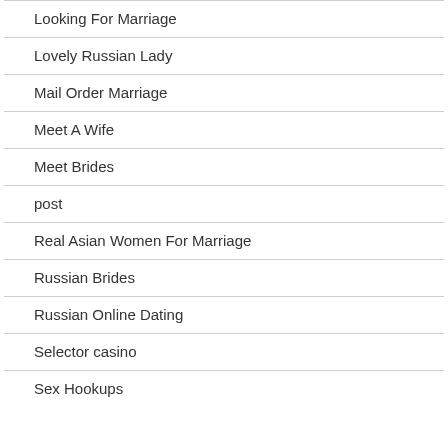Looking For Marriage
Lovely Russian Lady
Mail Order Marriage
Meet A Wife
Meet Brides
post
Real Asian Women For Marriage
Russian Brides
Russian Online Dating
Selector casino
Sex Hookups